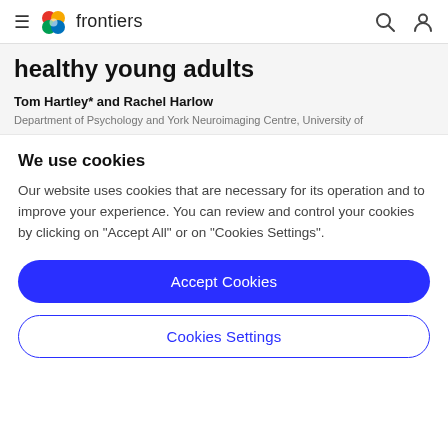frontiers
healthy young adults
Tom Hartley* and Rachel Harlow
Department of Psychology and York Neuroimaging Centre, University of
We use cookies
Our website uses cookies that are necessary for its operation and to improve your experience. You can review and control your cookies by clicking on "Accept All" or on "Cookies Settings".
Accept Cookies
Cookies Settings